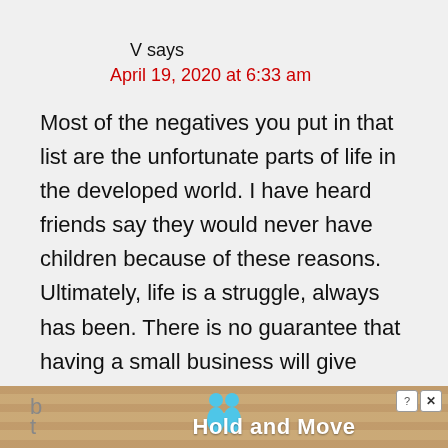V says
April 19, 2020 at 6:33 am
Most of the negatives you put in that list are the unfortunate parts of life in the developed world. I have heard friends say they would never have children because of these reasons. Ultimately, life is a struggle, always has been. There is no guarantee that having a small business will give them a good work ethic and make them happy working in the family
[Figure (other): Advertisement banner with wood texture background, cartoon figures icon, close button (? X), and text 'Hold and Move']